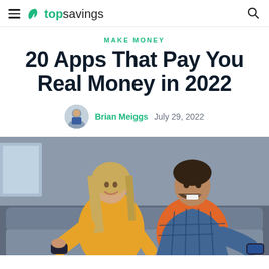topsavings
MAKE MONEY
20 Apps That Pay You Real Money in 2022
Brian Meiggs   July 29, 2022
[Figure (photo): A smiling woman in a yellow sweater and a laughing man in a blue plaid shirt sitting on a couch, both holding smartphones and looking excited.]